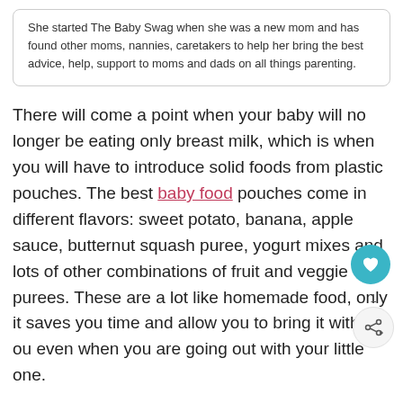She started The Baby Swag when she was a new mom and has found other moms, nannies, caretakers to help her bring the best advice, help, support to moms and dads on all things parenting.
There will come a point when your baby will no longer be eating only breast milk, which is when you will have to introduce solid foods from plastic pouches. The best baby food pouches come in different flavors: sweet potato, banana, apple sauce, butternut squash puree, yogurt mixes and lots of other combinations of fruit and veggie purees. These are a lot like homemade food, only it saves you time and allow you to bring it with you even when you are going out with your little one.